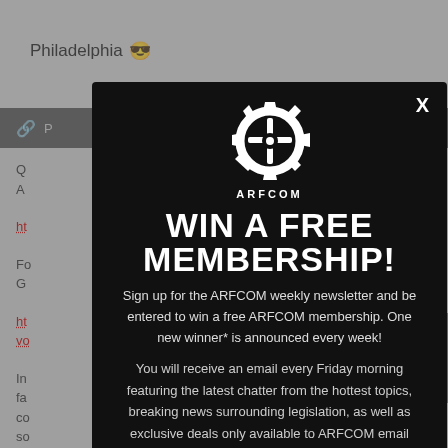Philadelphia 😎
[Figure (logo): ARFCOM gear/cog logo in white on black background]
WIN A FREE MEMBERSHIP!
Sign up for the ARFCOM weekly newsletter and be entered to win a free ARFCOM membership. One new winner* is announced every week!
You will receive an email every Friday morning featuring the latest chatter from the hottest topics, breaking news surrounding legislation, as well as exclusive deals only available to ARFCOM email subscribers.